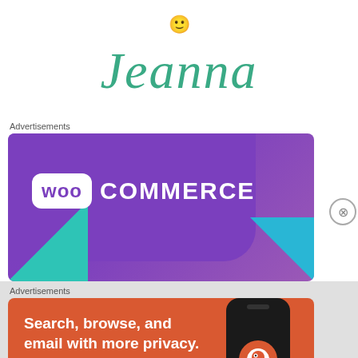[Figure (illustration): Smiley face emoji centered at top of page]
Jeanna
Advertisements
[Figure (logo): WooCommerce advertisement banner with purple background, WooCommerce logo in white, teal and blue triangle shapes at bottom corners]
Advertisements
[Figure (illustration): DuckDuckGo advertisement banner with orange/red background. Text: Search, browse, and email with more privacy. All in One Free App. Shows a phone with DuckDuckGo logo.]